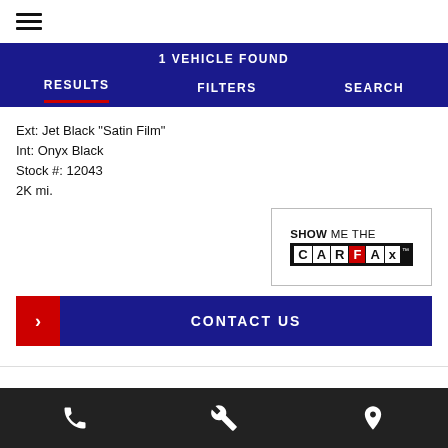[Figure (screenshot): Hamburger menu icon (three horizontal lines)]
1 VEHICLE FOUND
RESULTS   FILTERS   SEARCH
Ext: Jet Black "Satin Film"
Int: Onyx Black
Stock #: 12043
2K mi.
[Figure (logo): SHOW ME THE CARFAX logo badge]
> CONTACT US
Phone icon | Wrench icon | Location pin icon